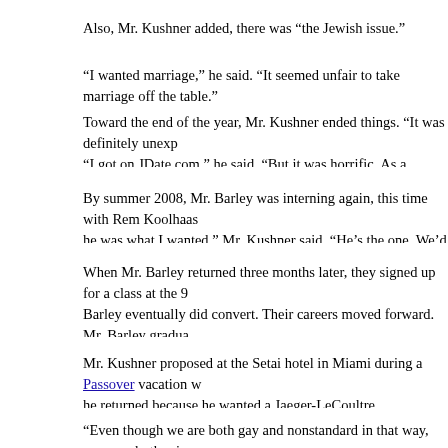Also, Mr. Kushner added, there was “the Jewish issue.”
“I wanted marriage,” he said. “It seemed unfair to take marriage off the table.”
Toward the end of the year, Mr. Kushner ended things. “It was definitely unexp… “I got on JDate.com,” he said. “But it was horrific. As a whole, Jewish gay guys…
By summer 2008, Mr. Barley was interning again, this time with Rem Koolhaas… he was what I wanted,” Mr. Kushner said. “He’s the one. We’d work it out.”
When Mr. Barley returned three months later, they signed up for a class at the 9… Barley eventually did convert. Their careers moved forward. Mr. Barley gradua… firm in New York. Mr. Kushner helped start a social networking site for archite…
Mr. Kushner proposed at the Setai hotel in Miami during a Passover vacation w… he returned because he wanted a Jaeger-LeCoultre.
“Even though we are both gay and nonstandard in that way, we were both raise… Barley said. “I’d always liked the idea of marriage, but it wasn’t something I re… kind of amazing.”
Mr. Kushner wanted the relationship his parents had. “There are two versions o… been outside of the realm of possibilities. But by the time I proposed to Chris, th…
During the December holidays, Mr. Barley and Mr. Kushner went to the home o…